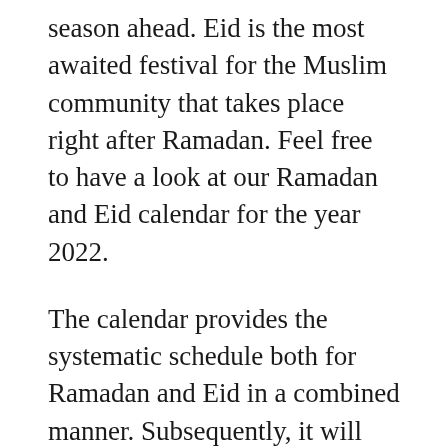season ahead. Eid is the most awaited festival for the Muslim community that takes place right after Ramadan. Feel free to have a look at our Ramadan and Eid calendar for the year 2022.
The calendar provides the systematic schedule both for Ramadan and Eid in a combined manner. Subsequently, it will help you in your planning of Ramadan and Eid so that you can enjoy both of these events for yourself. You can consider sharing this Ramadan and Eid 2022 calendar with your friends and family in the community